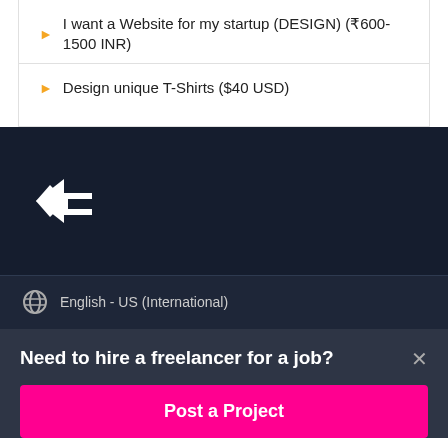I want a Website for my startup (DESIGN) (₹600-1500 INR)
Design unique T-Shirts ($40 USD)
[Figure (logo): Freelancer.com bird/arrow logo in white on dark navy background]
English - US (International)
Need to hire a freelancer for a job?
Post a Project